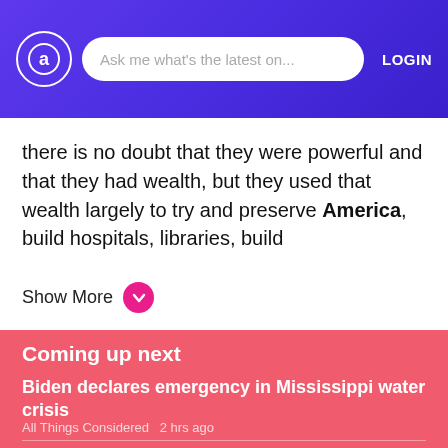Ask me what's the latest on...  LOGIN
there is no doubt that they were powerful and that they had wealth, but they used that wealth largely to try and preserve America, build hospitals, libraries, build
Show More
Coming up next
Biden declares emergency in Mississippi water crisis
All Things Considered   2 hrs ago
Reports of sexual assault in U.S. military increased by 13% in 2021